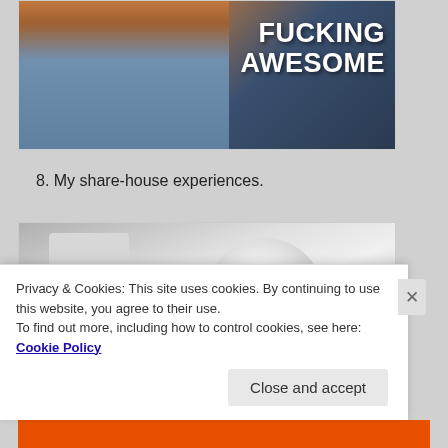[Figure (photo): A man with closed eyes and a slight smile wearing a blue shirt, with orange/brown background. White bold text overlay reads 'FUCKING AWESOME']
8. My share-house experiences.
[Figure (photo): Black and white photo of two people, one with long hair looking upward with wide eyes]
Privacy & Cookies: This site uses cookies. By continuing to use this website, you agree to their use.
To find out more, including how to control cookies, see here: Cookie Policy
Close and accept